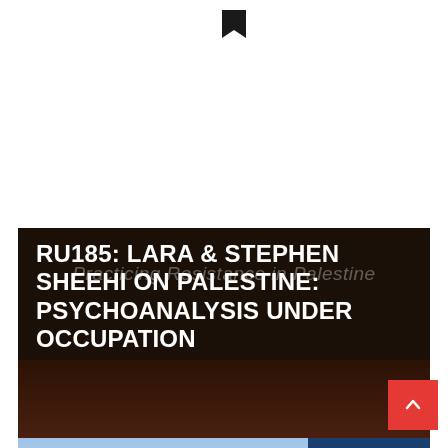[Figure (illustration): Small black bookmark or page-corner icon at top center of page on white background]
[Figure (photo): Dark book cover card with title 'RU185: Lara & Stephen Sheehi on Palestine: Psychoanalysis Under Occupation' overlaid on dark background, with italic ghost text 'Practicing Resistance in Palestine' behind the title]
RU185: LARA & STEPHEN SHEEHI ON PALESTINE: PSYCHOANALYSIS UNDER OCCUPATION
[Figure (photo): Partially visible next card at bottom showing sky background with the word 'Queerness' in italic serif font and 'Next' label]
Next
Queerness